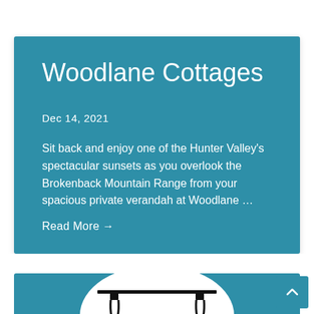Woodlane Cottages
Dec 14, 2021
Sit back and enjoy one of the Hunter Valley's spectacular sunsets as you overlook the Brokenback Mountain Range from your spacious private verandah at Woodlane ...
Read More →
[Figure (illustration): Partial view of a second teal card showing a white circle with a furniture/table silhouette illustration]